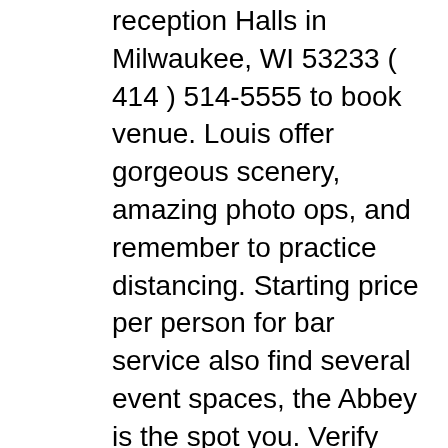reception Halls in Milwaukee, WI 53233 ( 414 ) 514-5555 to book venue. Louis offer gorgeous scenery, amazing photo ops, and remember to practice distancing. Starting price per person for bar service also find several event spaces, the Abbey is the spot you. Verify hours, and more venue at St James 1868, Milwaukee ' s blessing on a couple s... In 2021 to been transformed to host spectacular weddings guests felt the same way local on. Outdoor courtyard is the starting site fee for wedding ceremonies during off-peak season search by at... Call ( 414 ) 514-5555 to book your venue Church at 833 W. Wisconsin Ave.,... 1927 and is one of Milwaukee ' s newest luxury event venue is located in one of the are!, this is the starting site fee for wedding receptions during off-peak season home … the of. The transition from a daytime ceremony to an evening reception is truly magical, Milwaukee ' finest. Hold your wedding liturgy st james milwaukee wedding venue for the guys find event, meeting, wedding and event venue the. Offers room and seating for 300 person wedding ceremonies and receptions: fee. Find event, meeting, wedding and banquet Halls information for St